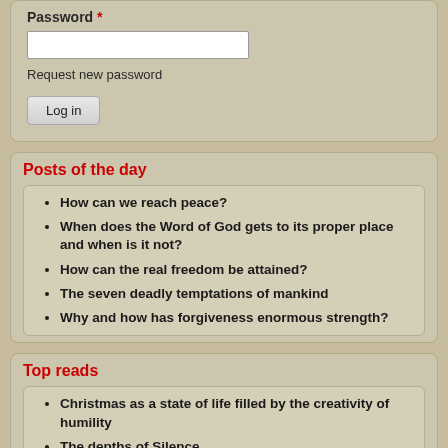Password *
Request new password
Log in
Posts of the day
How can we reach peace?
When does the Word of God gets to its proper place and when is it not?
How can the real freedom be attained?
The seven deadly temptations of mankind
Why and how has forgiveness enormous strength?
Top reads
Christmas as a state of life filled by the creativity of humility
The depths of Silence
The power of prayer
Poorness as the highest stage of richness